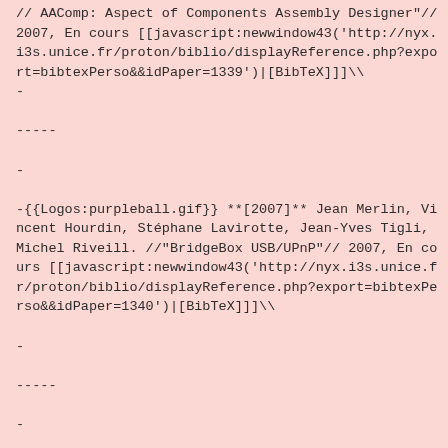// AAComp: Aspect of Components Assembly Designer"// 2007, En cours [[javascript:newwindow43('http://nyx.i3s.unice.fr/proton/biblio/displayReference.php?export=bibtexPerso&&idPaper=1339')|[BibTeX]]]\\
-
-----
-
-{{Logos:purpleball.gif}} **[2007]** Jean Merlin, Vincent Hourdin, Stéphane Lavirotte, Jean-Yves Tigli, Michel Riveill. //"BridgeBox USB/UPnP"// 2007, En cours [[javascript:newwindow43('http://nyx.i3s.unice.fr/proton/biblio/displayReference.php?export=bibtexPerso&&idPaper=1340')|[BibTeX]]]\\
-
-----
-
-{{Logos:purpleball.gif}} **[2006]**